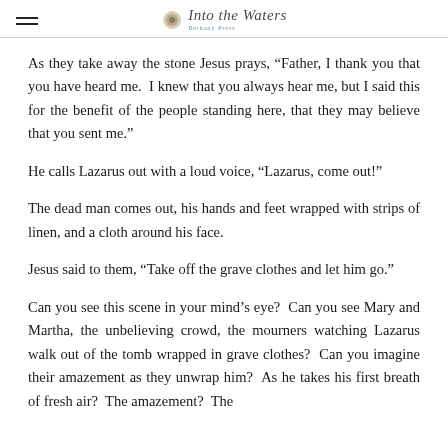Into the Waters
As they take away the stone Jesus prays, “Father, I thank you that you have heard me.  I knew that you always hear me, but I said this for the benefit of the people standing here, that they may believe that you sent me.”
He calls Lazarus out with a loud voice, “Lazarus, come out!”
The dead man comes out, his hands and feet wrapped with strips of linen, and a cloth around his face.
Jesus said to them, “Take off the grave clothes and let him go.”
Can you see this scene in your mind’s eye?  Can you see Mary and Martha, the unbelieving crowd, the mourners watching Lazarus walk out of the tomb wrapped in grave clothes?  Can you imagine their amazement as they unwrap him?  As he takes his first breath of fresh air?  The amazement?  The